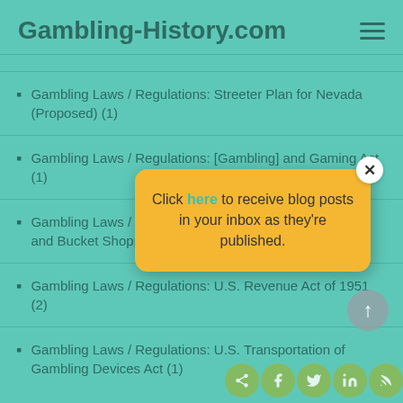Gambling-History.com
Gambling Laws / Regulations: Streeter Plan for Nevada (Proposed) (1)
Gambling Laws / Regulations: [Gambling] and Gaming Act (1)
Gambling Laws / Regulations: [Act] to Prohibit Bucketing and Bucket Shopping (1)
Gambling Laws / Regulations: U.S. Revenue Act of 1951 (2)
Gambling Laws / Regulations: U.S. Transportation of Gambling Devices Act (1)
[Figure (infographic): Popup modal with yellow/gold background and rounded corners. Contains text: 'Click here to receive blog posts in your inbox as they’re published.' with 'here' in teal/green color. Has a white circular close button with X in top right corner.]